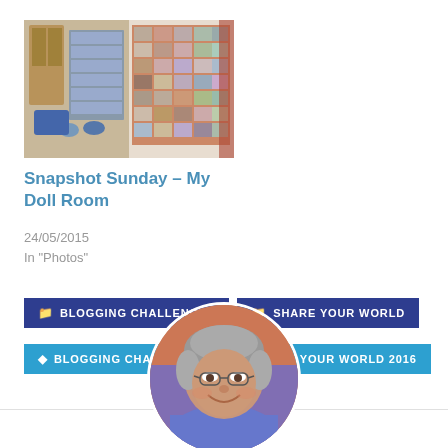[Figure (photo): Photo of a doll room with children and doll displays]
Snapshot Sunday – My Doll Room
24/05/2015
In "Photos"
BLOGGING CHALLENGES
SHARE YOUR WORLD
BLOGGING CHALLENGE
SHARE YOUR WORLD 2016
[Figure (photo): Circular avatar photo of an older woman with grey hair and glasses, wearing a blue top, smiling]